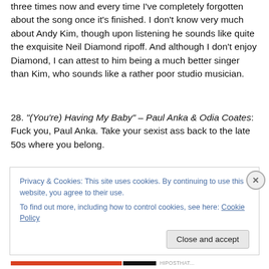three times now and every time I've completely forgotten about the song once it's finished. I don't know very much about Andy Kim, though upon listening he sounds like quite the exquisite Neil Diamond ripoff. And although I don't enjoy Diamond, I can attest to him being a much better singer than Kim, who sounds like a rather poor studio musician.
28. "(You're) Having My Baby" – Paul Anka & Odia Coates: Fuck you, Paul Anka. Take your sexist ass back to the late 50s where you belong.
Privacy & Cookies: This site uses cookies. By continuing to use this website, you agree to their use.
To find out more, including how to control cookies, see here: Cookie Policy
Close and accept